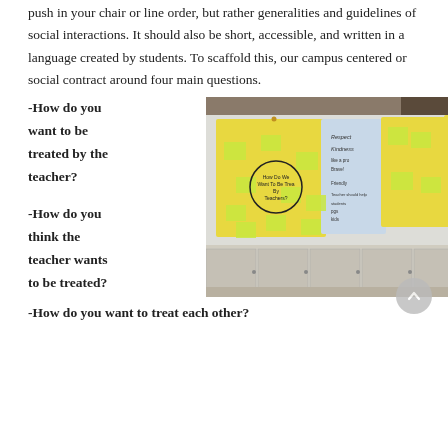push in your chair or line order, but rather generalities and guidelines of social interactions. It should also be short, accessible, and written in a language created by students. To scaffold this, our campus centered or social contract around four main questions.
-How do you want to be treated by the teacher?
[Figure (photo): Photograph of a classroom whiteboard covered with large yellow paper sheets and sticky notes, with handwritten text including words like 'Respect', 'Kindness', 'Be a pro', 'Friendly', with a circle drawn in the center of one sheet.]
-How do you think the teacher wants to be treated?
-How do you want to treat each other?